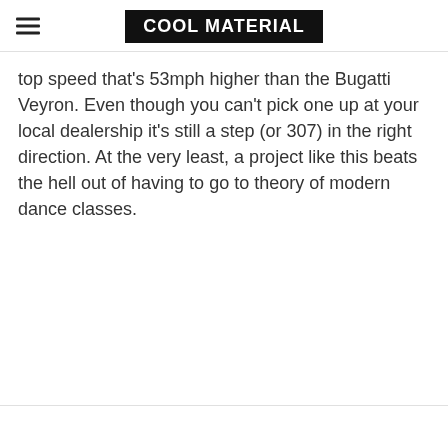COOL MATERIAL
top speed that's 53mph higher than the Bugatti Veyron. Even though you can't pick one up at your local dealership it's still a step (or 307) in the right direction. At the very least, a project like this beats the hell out of having to go to theory of modern dance classes.